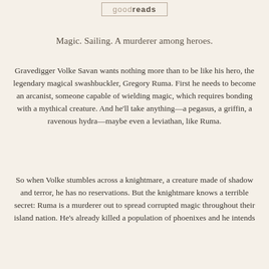[Figure (logo): Goodreads logo showing stylized 'goodreads' text in a bordered box]
Magic. Sailing. A murderer among heroes.
Gravedigger Volke Savan wants nothing more than to be like his hero, the legendary magical swashbuckler, Gregory Ruma. First he needs to become an arcanist, someone capable of wielding magic, which requires bonding with a mythical creature. And he'll take anything—a pegasus, a griffin, a ravenous hydra—maybe even a leviathan, like Ruma.
So when Volke stumbles across a knightmare, a creature made of shadow and terror, he has no reservations. But the knightmare knows a terrible secret: Ruma is a murderer out to spread corrupted magic throughout their island nation. He's already killed a population of phoenixes and he intends